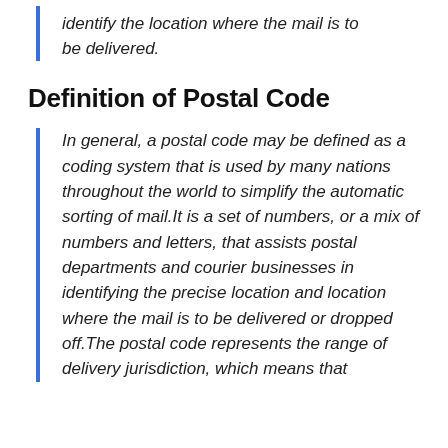identify the location where the mail is to be delivered.
Definition of Postal Code
In general, a postal code may be defined as a coding system that is used by many nations throughout the world to simplify the automatic sorting of mail.It is a set of numbers, or a mix of numbers and letters, that assists postal departments and courier businesses in identifying the precise location and location where the mail is to be delivered or dropped off.The postal code represents the range of delivery jurisdiction, which means that